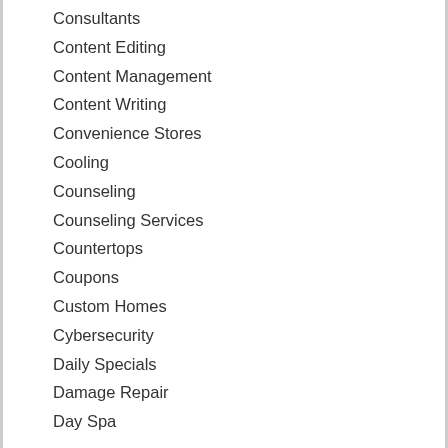Consultants
Content Editing
Content Management
Content Writing
Convenience Stores
Cooling
Counseling
Counseling Services
Countertops
Coupons
Custom Homes
Cybersecurity
Daily Specials
Damage Repair
Day Spa